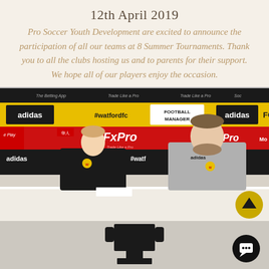12th April 2019
Pro Soccer Youth Development are excited to announce the participation of all our teams at 8 Summer Tournaments.  Thank you to all the clubs hosting us and to parents for their support.  We hope all of our players enjoy the occasion.
[Figure (photo): A young boy in a black Watford FC kit and an adult man in a grey Adidas top sit behind a white table in front of a Watford FC branded backdrop featuring adidas, FxPro, #watfordfc, Football Manager and MoPlay sponsor logos in yellow, black and red. The boy appears to be signing a document.]
[Figure (photo): Bottom portion of page showing a dark trophy/award shape against a light grey background, with a black circular chat button in the bottom right corner.]